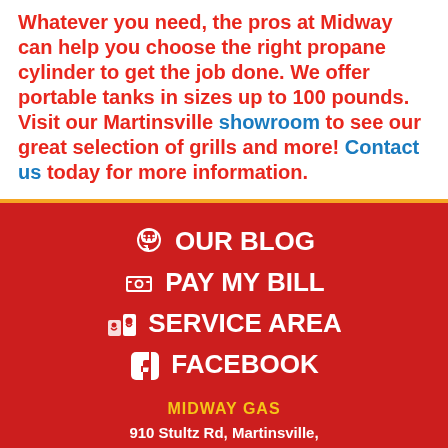Whatever you need, the pros at Midway can help you choose the right propane cylinder to get the job done. We offer portable tanks in sizes up to 100 pounds. Visit our Martinsville showroom to see our great selection of grills and more! Contact us today for more information.
OUR BLOG
PAY MY BILL
SERVICE AREA
FACEBOOK
MIDWAY GAS
910 Stultz Rd, Martinsville,
VA 24112 • 276-226-9936
© 2022 Midway Bottled Gas Company, Inc. All rights